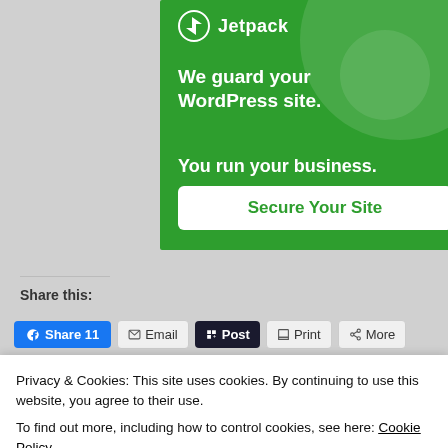[Figure (screenshot): Jetpack advertisement banner with green background. Shows Jetpack logo at top, text 'We guard your WordPress site. You run your business.' and a white button 'Secure Your Site'.]
Share this:
Facebook Share 11   Email   Post   Print   More
Privacy & Cookies: This site uses cookies. By continuing to use this website, you agree to their use.
To find out more, including how to control cookies, see here: Cookie Policy
Close and accept
Child, depression, despair, devastation, emotions,